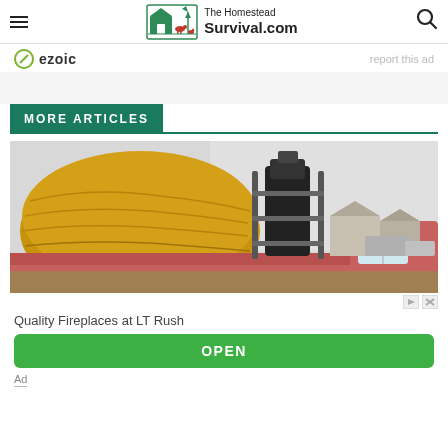The Homestead Survival.com
ezoic   report this ad
MORE ARTICLES
[Figure (photo): A red pickup truck loaded with a large round hay bale and black equipment/smoker on the truck bed, parked near farm buildings on an overcast day.]
Quality Fireplaces at LT Rush
OPEN
Ad